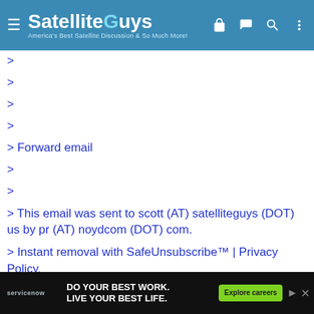SatelliteGuys — America's Best Satellite Discussion & So Much More!
>
>
>
>
> Forward email
>
>
> This email was sent to scott (AT) satelliteguys (DOT) us by pr (AT) noydcom (DOT) com.
> Instant removal with SafeUnsubscribe™ | Privacy Policy.
> Email Marketing by
>
>
> Noyd Communications Inc. | 232-D Manhattan Beach
>
[Figure (screenshot): Advertisement banner: ServiceNow — DO YOUR BEST WORK. LIVE YOUR BEST LIFE. Explore careers button.]